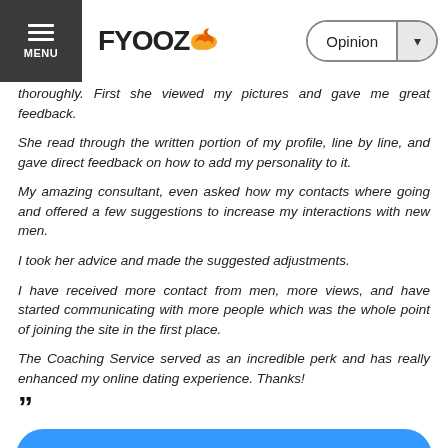FYOOZ | Opinion
thoroughly. First she viewed my pictures and gave me great feedback.
She read through the written portion of my profile, line by line, and gave direct feedback on how to add my personality to it.
My amazing consultant, even asked how my contacts where going and offered a few suggestions to increase my interactions with new men.
I took her advice and made the suggested adjustments.
I have received more contact from men, more views, and have started communicating with more people which was the whole point of joining the site in the first place.
The Coaching Service served as an incredible perk and has really enhanced my online dating experience. Thanks!
””
Find out more
[Figure (photo): Two small photo thumbnails at the bottom of the page]